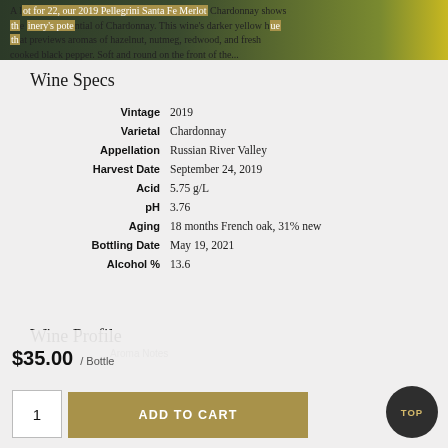[Figure (photo): Top portion of a wine bottle or winery image — dark green foliage with yellow accent, cropped at top]
Wine Specs
| Label | Value |
| --- | --- |
| Vintage | 2019 |
| Varietal | Chardonnay |
| Appellation | Russian River Valley |
| Harvest Date | September 24, 2019 |
| Acid | 5.75 g/L |
| pH | 3.76 |
| Aging | 18 months French oak, 31% new |
| Bottling Date | May 19, 2021 |
| Alcohol % | 13.6 |
Wine Profile
$35.00 / Bottle
ADD TO CART
A lot for 22, our 2019 Pellegrini Santa Fe Merlot Chardonnay shows the winery's potential of Chardonnay. This wine's darker yellow hue previews aromas of hazelnut, nutmeg, redwood, and fresh cooked black pepper. Soft and round on the front of the...